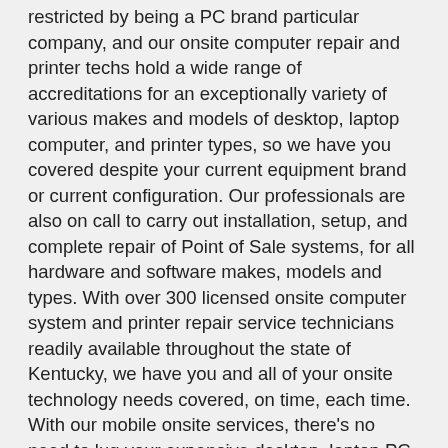restricted by being a PC brand particular company, and our onsite computer repair and printer techs hold a wide range of accreditations for an exceptionally variety of various makes and models of desktop, laptop computer, and printer types, so we have you covered despite your current equipment brand or current configuration. Our professionals are also on call to carry out installation, setup, and complete repair of Point of Sale systems, for all hardware and software makes, models and types. With over 300 licensed onsite computer system and printer repair service technicians readily available throughout the state of Kentucky, we have you and all of your onsite technology needs covered, on time, each time. With our mobile onsite services, there's no need to lug your expensive desktop, laptop PC, or printer into a local Anchorage service center, and unlike many other gimmicky “PC geek”, “computer master”, and “pc doctor” services, our mobile staff technicians are industry licensed, background checked, and fully vetted to guarantee only the highest quality professional onsite services for you and your local